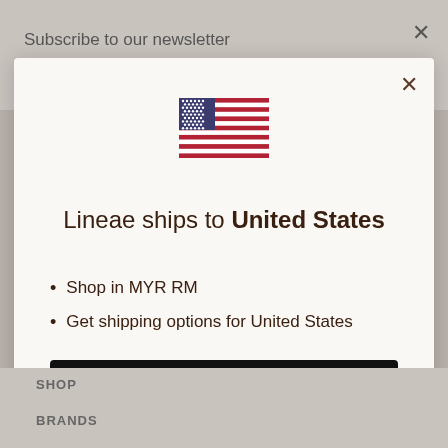Subscribe to our newsletter
[Figure (illustration): US flag emoji/icon centered in modal]
Lineae ships to United States
Shop in MYR RM
Get shipping options for United States
Shop now
Change shipping country
SHOP
BRANDS